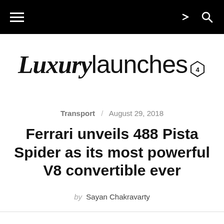Navigation bar with hamburger menu, share and search icons
[Figure (logo): LuxuryLaunches logo with diamond/gem icon superscript]
Transport / August 29, 2018
Ferrari unveils 488 Pista Spider as its most powerful V8 convertible ever
by Sayan Chakravarty